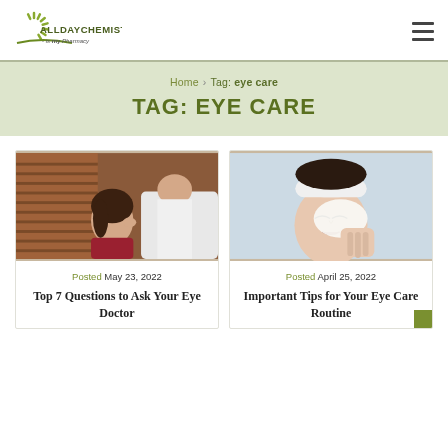[Figure (logo): AllDayChemist is my Pharmacy logo with green sunburst icon]
Home > Tag: eye care
TAG: EYE CARE
[Figure (photo): Doctor examining patient's eye]
Posted May 23, 2022
Top 7 Questions to Ask Your Eye Doctor
[Figure (photo): Woman with headband cleaning her eye with a cotton pad]
Posted April 25, 2022
Important Tips for Your Eye Care Routine